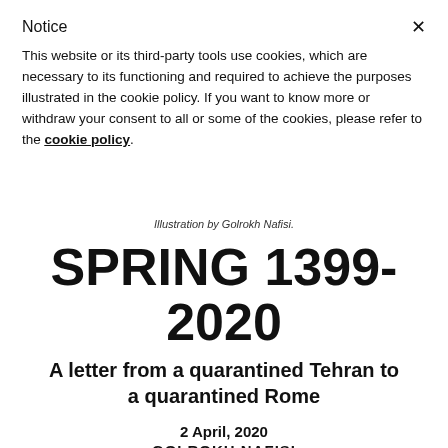Notice
This website or its third-party tools use cookies, which are necessary to its functioning and required to achieve the purposes illustrated in the cookie policy. If you want to know more or withdraw your consent to all or some of the cookies, please refer to the cookie policy.
Illustration by Golrokh Nafisi.
SPRING 1399-2020
A letter from a quarantined Tehran to a quarantined Rome
2 April, 2020
GOLROKH NAFISI
[Figure (illustration): Facebook and Twitter social media icons (circular outlines with f and bird logos)]